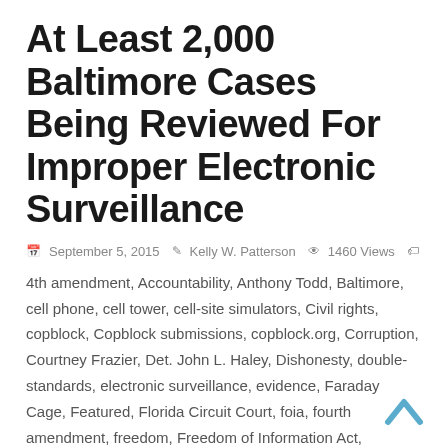At Least 2,000 Baltimore Cases Being Reviewed For Improper Electronic Surveillance
September 5, 2015   Kelly W. Patterson   1460 Views
4th amendment, Accountability, Anthony Todd, Baltimore, cell phone, cell tower, cell-site simulators, Civil rights, copblock, Copblock submissions, copblock.org, Corruption, Courtney Frazier, Det. John L. Haley, Dishonesty, double-standards, electronic surveillance, evidence, Faraday Cage, Featured, Florida Circuit Court, foia, fourth amendment, freedom, Freedom of Information Act, Harassment, Illegal search/entry, Judge Barry G. Williams, Judge Frank Sheffield, Justice System, kelly patterson, Maryland, md, NDA, Non Disclosure Agreement, police, police abuse, police accountability, Police brutality, Police State, police surveillance, public records request, REID, rights, review, Stingray, July Kelley III